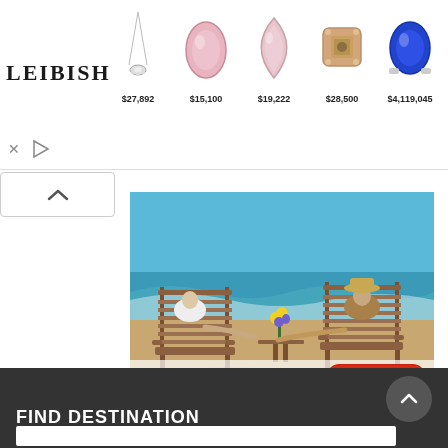[Figure (screenshot): LEIBISH jewelry advertisement banner showing a diamond necklace ($27,892), pink oval gem ($15,100), pink teardrop gem ($19,222), rose gold square gem ($28,500), and blue sapphire ring ($4,119,045)]
[Figure (photo): Beach scene advertisement with two people in wooden chairs holding hands, flowers on table, text 'Get Important Details' and red 'Click Here' button]
Clickbank Ad Rotator
FIND DESTINATION